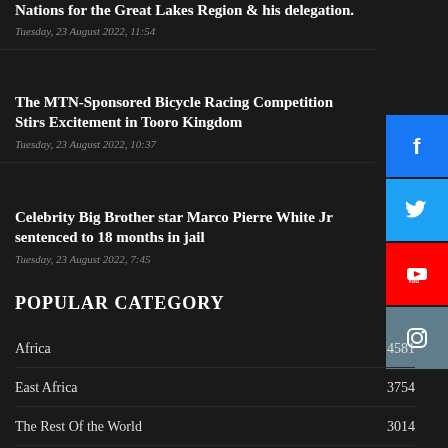Nations for the Great Lakes Region & his delegation.
The MTN-Sponsored Bicycle Racing Competition Stirs Excitement in Tooro Kingdom
Celebrity Big Brother star Marco Pierre White Jr sentenced to 18 months in jail
POPULAR CATEGORY
Africa 4581
East Africa 3754
The Rest Of the World 3014